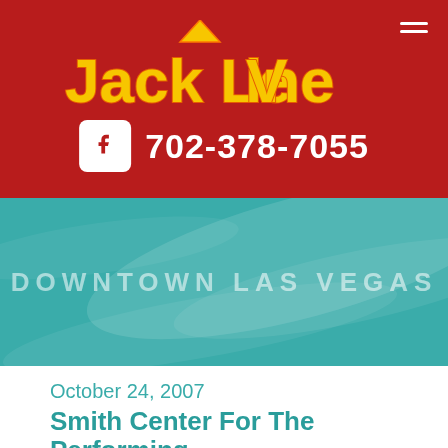[Figure (logo): Jack LeVine logo in yellow/orange on red background, with decorative V shape above the V in LeVine]
702-378-7055
DOWNTOWN LAS VEGAS
October 24, 2007
Smith Center For The Performing